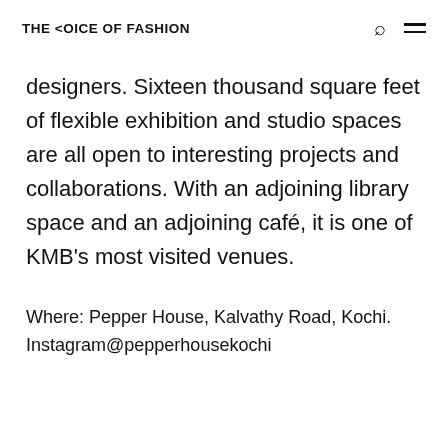THE <OICE OF FASHION
designers. Sixteen thousand square feet of flexible exhibition and studio spaces are all open to interesting projects and collaborations. With an adjoining library space and an adjoining café, it is one of KMB's most visited venues.
Where: Pepper House, Kalvathy Road, Kochi. Instagram@pepperhousekochi